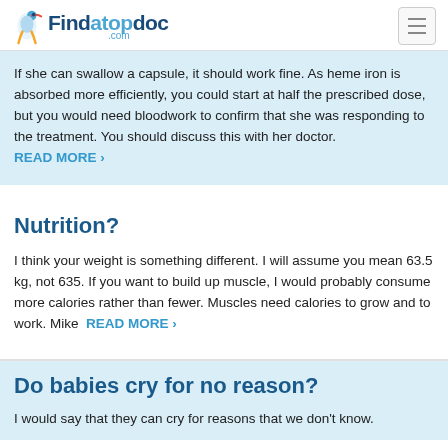Findatopdoc.com
If she can swallow a capsule, it should work fine. As heme iron is absorbed more efficiently, you could start at half the prescribed dose, but you would need bloodwork to confirm that she was responding to the treatment. You should discuss this with her doctor.  READ MORE ›
Nutrition?
I think your weight is something different. I will assume you mean 63.5 kg, not 635. If you want to build up muscle, I would probably consume more calories rather than fewer. Muscles need calories to grow and to work. Mike  READ MORE ›
Do babies cry for no reason?
I would say that they can cry for reasons that we don't know.